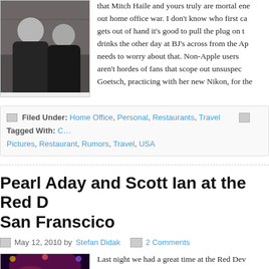[Figure (photo): Two men posing together indoors, black and white or dark photo]
that Mitch Haile and yours truly are mortal ene... out home office war. I don't know who first ca... gets out of hand it's good to pull the plug on ... drinks the other day at BJ's across from the Ap... needs to worry about that. Non-Apple users ... aren't hordes of fans that scope out unsuspec... Goetsch, practicing with her new Nikon, for the
Filed Under: Home Office, Personal, Restaurants, Travel Tagged With: C... Pictures, Restaurant, Rumors, Travel, USA
Pearl Aday and Scott Ian at the Red D... San Franscico
May 12, 2010 by Stefan Didak  2 Comments
[Figure (photo): Concert photo showing performer on stage with purple/red lighting]
Last night we had a great time at the Red Dev... were to see Pearl & Scott Ian and members of... kick-ass rock. It was an amazing performance... and husband Scott Ian. Or, as Sallie put it, "sh...